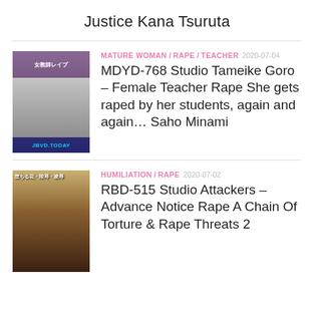Justice Kana Tsuruta
MATURE WOMAN / RAPE / TEACHER 2020-07-04
MDYD-768 Studio Tameike Goro – Female Teacher Rape She gets raped by her students, again and again… Saho Minami
HUMILIATION / RAPE 2020-07-02
RBD-515 Studio Attackers – Advance Notice Rape A Chain Of Torture & Rape Threats 2